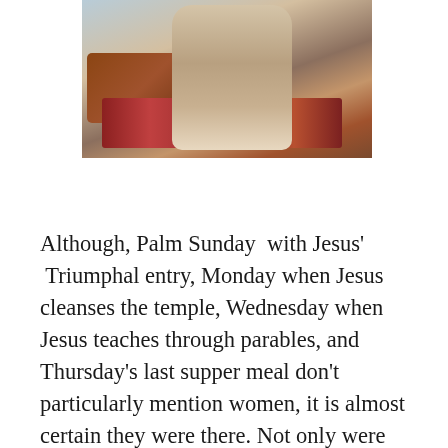[Figure (photo): A painting depicting a figure in robes bending over, with furniture, a colorful rug, and a light background visible.]
Although, Palm Sunday  with Jesus'  Triumphal entry, Monday when Jesus cleanses the temple, Wednesday when Jesus teaches through parables, and Thursday's last supper meal don't particularly mention women, it is almost certain they were there. Not only were they at least present, but likely helping, witnessing, praising, and remembering the doctrine taught.   A few of the parables and teachings this week highlight women. For example, the parable of the ten virgins (Matthew 25); the